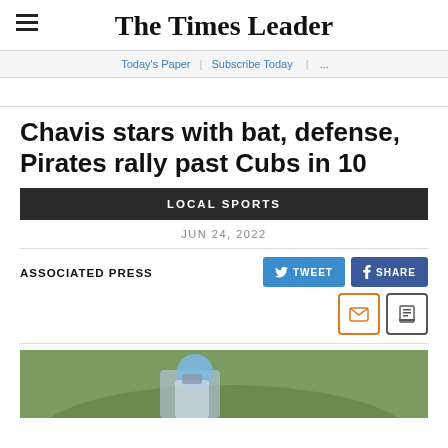The Times Leader
Today's Paper | Subscribe Today | ...
Chavis stars with bat, defense, Pirates rally past Cubs in 10
LOCAL SPORTS
JUN 24, 2022
ASSOCIATED PRESS
[Figure (photo): Baseball player (catcher) on grass field, wearing blue helmet]